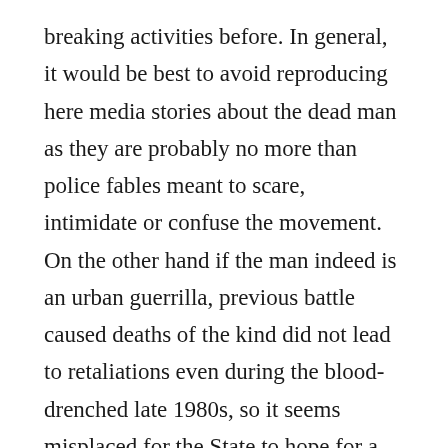breaking activities before. In general, it would be best to avoid reproducing here media stories about the dead man as they are probably no more than police fables meant to scare, intimidate or confuse the movement. On the other hand if the man indeed is an urban guerrilla, previous battle caused deaths of the kind did not lead to retaliations even during the blood-drenched late 1980s, so it seems misplaced for the State to hope for a strategy of tension. Once again I must stress that in the 35 year long history of urban guerrilla in Greece only one man has lost his life by accident, all other victims being targeted one to one capitalist and statist functionaries. Any blind attack against